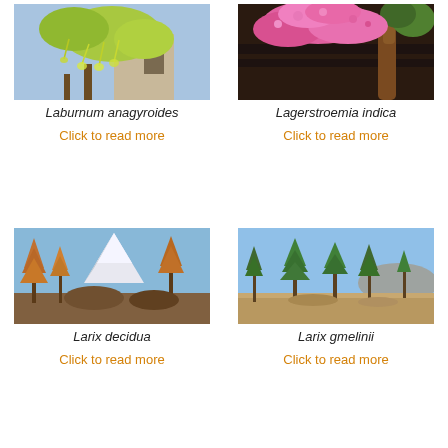[Figure (photo): Photo of Laburnum anagyroides tree with yellow-green hanging flowers]
Laburnum anagyroides
Click to read more
[Figure (photo): Photo of Lagerstroemia indica with pink flowers against dark fence]
Lagerstroemia indica
Click to read more
[Figure (photo): Photo of Larix decidua with autumn orange needles in front of snowy Matterhorn]
Larix decidua
Click to read more
[Figure (photo): Photo of Larix gmelinii trees in open forest landscape with blue sky]
Larix gmelinii
Click to read more